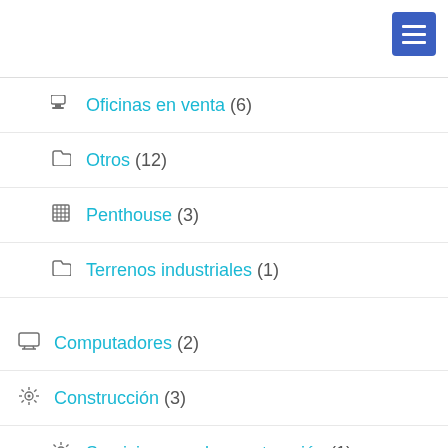Oficinas en venta (6)
Otros (12)
Penthouse (3)
Terrenos industriales (1)
Computadores (2)
Construcción (3)
Servicios para la construcción (1)
Decoración (2)
Deportes (3)
Diseño gráfico (9)